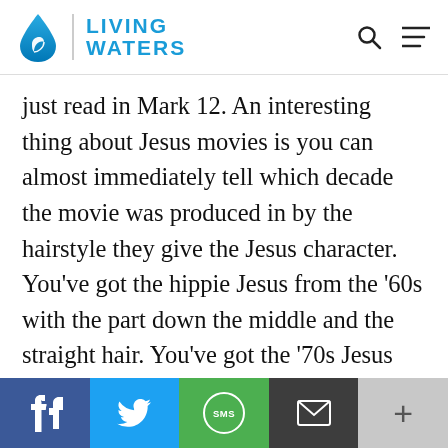LIVING WATERS
just read in Mark 12. An interesting thing about Jesus movies is you can almost immediately tell which decade the movie was produced in by the hairstyle they give the Jesus character. You've got the hippie Jesus from the '60s with the part down the middle and the straight hair. You've got the '70s Jesus with the feathered Bee Gees look. Of course, the '80s mullet Jesus going on. My favorite is the '90s Jesus. I don't